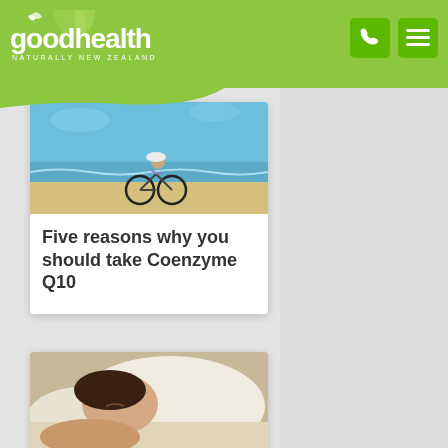goodhealth NATURALLY NEW ZEALAND
[Figure (photo): Woman riding a bicycle on a beach on a sunny day, wearing a white hat]
Five reasons why you should take Coenzyme Q10
[Figure (photo): Person sleeping with head on white pillow, eyes closed]
What happens to our brain while we're